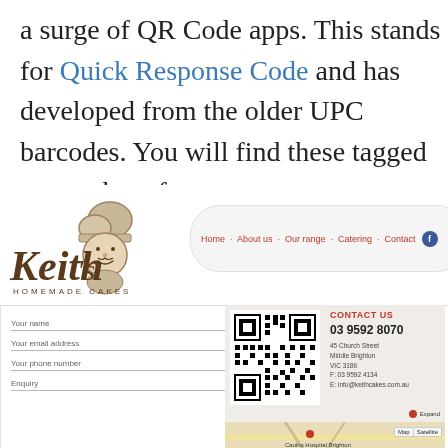a surge of QR Code apps. This stands for Quick Response Code and has developed from the older UPC barcodes. You will find these tagged everywhere from restaurants to event venues and automobile sales lots.
[Figure (screenshot): Screenshot of Keith's Homemade Cakes website showing the logo, navigation menu (Home, About us, Our range, Catering, Contact, Facebook icon), a contact form with fields (Your name, Your email address, Your phone number, Enquiry), and a contact panel showing a QR code, CONTACT US heading, phone number 03 9592 8070, address 45 Church Street Middle Brighton VIC 3186, F: 03 9592 4134, E: info@keithcakes.com.au, and a partial map view with Map/Satellite buttons.]